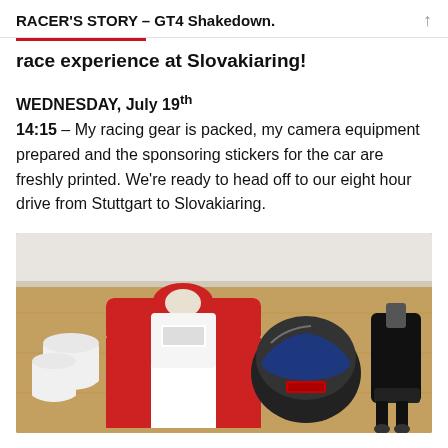RACER'S STORY – GT4 Shakedown.
race experience at Slovakiaring!
WEDNESDAY, July 19th
14:15 – My racing gear is packed, my camera equipment prepared and the sponsoring stickers for the car are freshly printed. We're ready to head off to our eight hour drive from Stuttgart to Slovakiaring.
[Figure (photo): Racing gear laid out on a wooden floor: a red and white racing suit, a dark helmet with blue visor, and a HANS device/neck restraint]